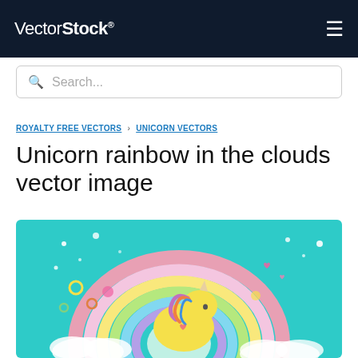VectorStock®
Search...
ROYALTY FREE VECTORS › UNICORN VECTORS
Unicorn rainbow in the clouds vector image
[Figure (illustration): Colorful vector illustration of a yellow unicorn in front of a pastel rainbow on a teal background, surrounded by sparkles, hearts, flowers, and colorful circles]